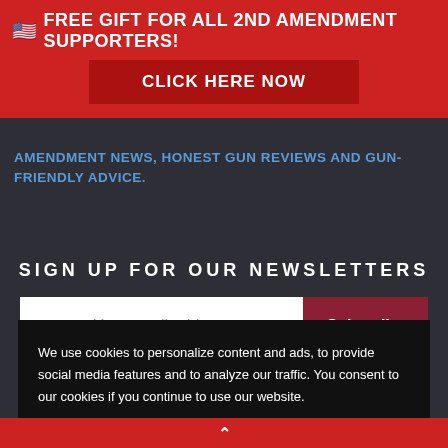🇺🇸 FREE GIFT FOR ALL 2ND AMENDMENT SUPPORTERS!
CLICK HERE NOW
AMENDMENT NEWS, HONEST GUN REVIEWS AND GUN-FRIENDLY ADVICE.
SIGN UP FOR OUR NEWSLETTERS
Your email address
Subscribe
GO SHOPPING
U.S. PATRIOT GEAR
GUN DEALS
We use cookies to personalize content and ads, to provide social media features and to analyze our traffic. You consent to our cookies if you continue to use our website.
Accept